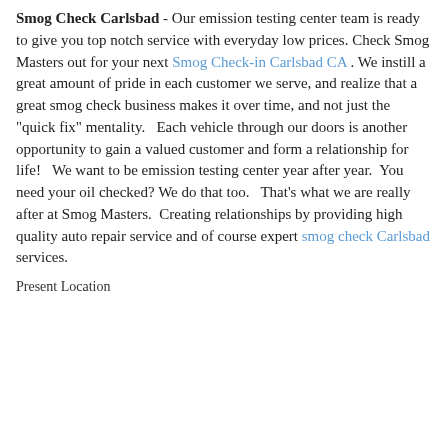Smog Check Carlsbad - Our emission testing center team is ready to give you top notch service with everyday low prices. Check Smog Masters out for your next Smog Check-in Carlsbad CA . We instill a great amount of pride in each customer we serve, and realize that a great smog check business makes it over time, and not just the "quick fix" mentality.   Each vehicle through our doors is another opportunity to gain a valued customer and form a relationship for life!   We want to be emission testing center year after year.  You need your oil checked? We do that too.   That's what we are really after at Smog Masters.  Creating relationships by providing high quality auto repair service and of course expert smog check Carlsbad services.
Present Location